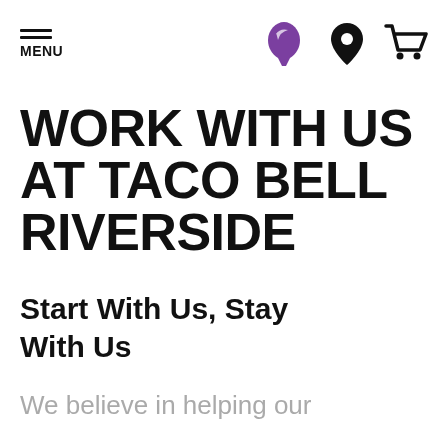MENU [Taco Bell logo] [location pin icon] [cart icon]
WORK WITH US AT TACO BELL RIVERSIDE
Start With Us, Stay With Us
We believe in helping our